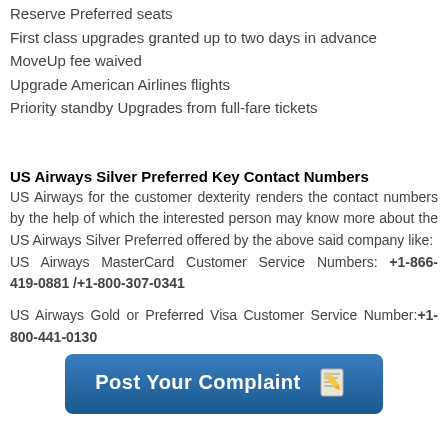Reserve Preferred seats
First class upgrades granted up to two days in advance
MoveUp fee waived
Upgrade American Airlines flights
Priority standby Upgrades from full-fare tickets
US Airways Silver Preferred Key Contact Numbers
US Airways for the customer dexterity renders the contact numbers by the help of which the interested person may know more about the US Airways Silver Preferred offered by the above said company like:
US Airways MasterCard Customer Service Numbers: +1-866-419-0881 /+1-800-307-0341
US Airways Gold or Preferred Visa Customer Service Number:+1-800-441-0130
[Figure (other): Blue rounded button with text 'Post Your Complaint' and a notepad/pencil icon]